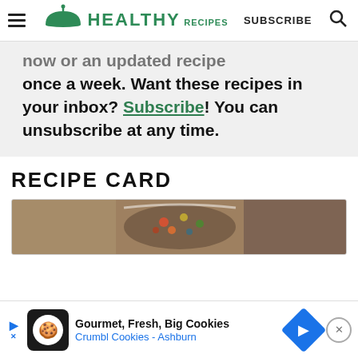HEALTHY RECIPES | SUBSCRIBE
now or an updated recipe once a week. Want these recipes in your inbox? Subscribe! You can unsubscribe at any time.
RECIPE CARD
[Figure (photo): Food photo inside recipe card box - appears to show a salad or grain bowl with colorful vegetables]
Gourmet, Fresh, Big Cookies — Crumbl Cookies - Ashburn (advertisement)